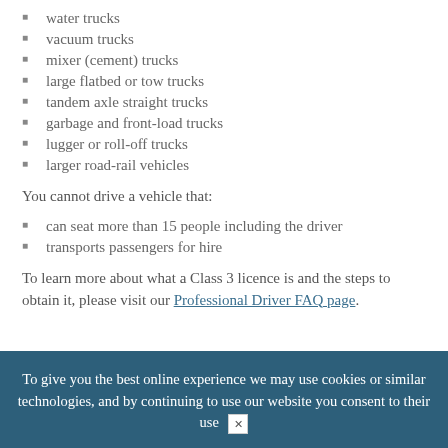water trucks
vacuum trucks
mixer (cement) trucks
large flatbed or tow trucks
tandem axle straight trucks
garbage and front-load trucks
lugger or roll-off trucks
larger road-rail vehicles
You cannot drive a vehicle that:
can seat more than 15 people including the driver
transports passengers for hire
To learn more about what a Class 3 licence is and the steps to obtain it, please visit our Professional Driver FAQ page.
Career Opportunities
To give you the best online experience we may use cookies or similar technologies, and by continuing to use our website you consent to their use